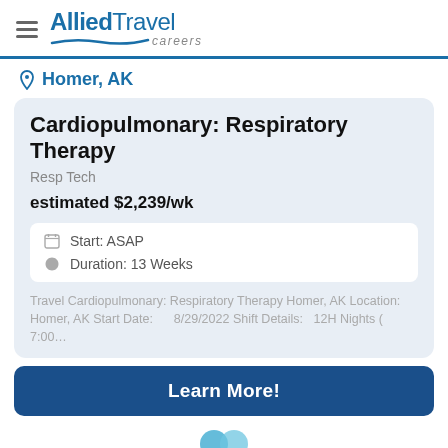Allied Travel Careers
Homer, AK
Cardiopulmonary: Respiratory Therapy
Resp Tech
estimated $2,239/wk
Start: ASAP
Duration: 13 Weeks
Travel Cardiopulmonary: Respiratory Therapy Homer, AK Location:      Homer, AK Start Date:      8/29/2022 Shift Details:  12H Nights ( 7:00...
Learn More!